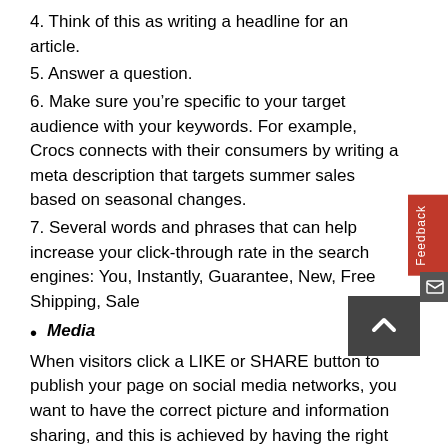4. Think of this as writing a headline for an article.
5. Answer a question.
6. Make sure you’re specific to your target audience with your keywords. For example, Crocs connects with their consumers by writing a meta description that targets summer sales based on seasonal changes.
7. Several words and phrases that can help increase your click-through rate in the search engines: You, Instantly, Guarantee, New, Free Shipping, Sale
Media
When visitors click a LIKE or SHARE button to publish your page on social media networks, you want to have the correct picture and information sharing, and this is achieved by having the right open graph tags defined. Social media share buttons give you the potential for free promotion on social channels.
And, while social media may not directly affect your rankings in the search engines, having a product that is